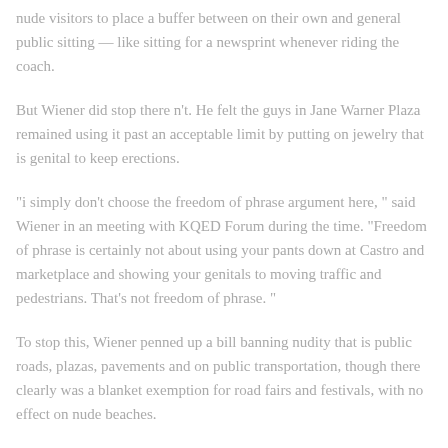nude visitors to place a buffer between on their own and general public sitting — like sitting for a newsprint whenever riding the coach.
But Wiener did stop there n't. He felt the guys in Jane Warner Plaza remained using it past an acceptable limit by putting on jewelry that is genital to keep erections.
"i simply don't choose the freedom of phrase argument here, " said Wiener in an meeting with KQED Forum during the time. "Freedom of phrase is certainly not about using your pants down at Castro and marketplace and showing your genitals to moving traffic and pedestrians. That's not freedom of phrase. "
To stop this, Wiener penned up a bill banning nudity that is public roads, plazas, pavements and on public transportation, though there clearly was a blanket exemption for road fairs and festivals, with no effect on nude beaches.
Wiener's campaign received protection from nationwide news outlets,